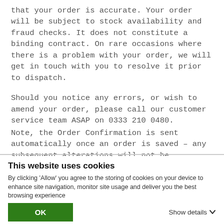that your order is accurate. Your order will be subject to stock availability and fraud checks. It does not constitute a binding contract. On rare occasions where there is a problem with your order, we will get in touch with you to resolve it prior to dispatch.
Should you notice any errors, or wish to amend your order, please call our customer service team ASAP on 0333 210 0480.
Note, the Order Confirmation is sent automatically once an order is saved – any subsequent alterations will not be confirmed by email as a matter of course, however please feel free to Contact Us should you have any queries.
This website uses cookies
By clicking 'Allow' you agree to the storing of cookies on your device to enhance site navigation, monitor site usage and deliver you the best browsing experience
OK
Show details